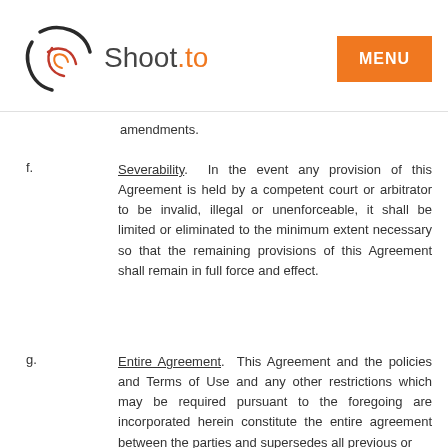Shoot.to — MENU
amendments.
f. Severability. In the event any provision of this Agreement is held by a competent court or arbitrator to be invalid, illegal or unenforceable, it shall be limited or eliminated to the minimum extent necessary so that the remaining provisions of this Agreement shall remain in full force and effect.
g. Entire Agreement. This Agreement and the policies and Terms of Use and any other restrictions which may be required pursuant to the foregoing are incorporated herein constitute the entire agreement between the parties and supersedes all previous or